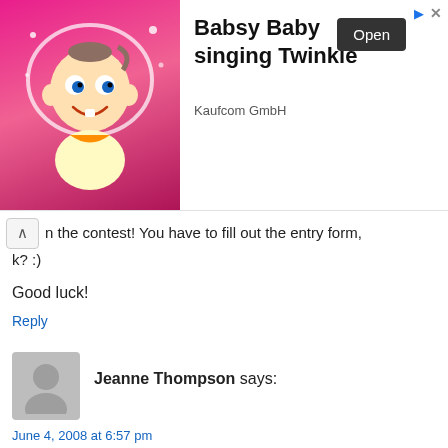[Figure (illustration): Advertisement banner: Babsy Baby app ad with animated baby character on pink background, 'Open' button, Kaufcom GmbH publisher name]
n the contest! You have to fill out the entry form, k? :)
Good luck!
Reply
Jeanne Thompson says:
June 4, 2008 at 6:57 pm
I'd love to go. Pick me, Please!!!
Reply